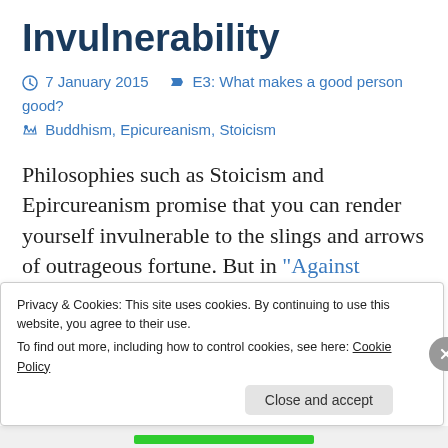Invulnerability
7 January 2015   E3: What makes a good person good?   Buddhism, Epicureanism, Stoicism
Philosophies such as Stoicism and Epircureanism promise that you can render yourself invulnerable to the slings and arrows of outrageous fortune. But in “Against Invulnerability” Todd May asks whether we really want to be invulnerable. “But for those
Privacy & Cookies: This site uses cookies. By continuing to use this website, you agree to their use.
To find out more, including how to control cookies, see here: Cookie Policy
Close and accept